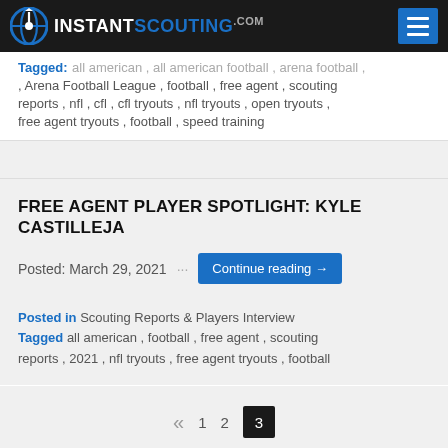INSTANT SCOUTING
Tagged: all american , all american football , arena football , Arena Football League , football , free agent , scouting reports , nfl , cfl , cfl tryouts , nfl tryouts , open tryouts , free agent tryouts , football , speed training
FREE AGENT PLAYER SPOTLIGHT: KYLE CASTILLEJA
Posted: March 29, 2021 ··· Continue reading →
Posted in Scouting Reports & Players Interview
Tagged all american , football , free agent , scouting reports , 2021 , nfl tryouts , free agent tryouts , football
« 1 2 3